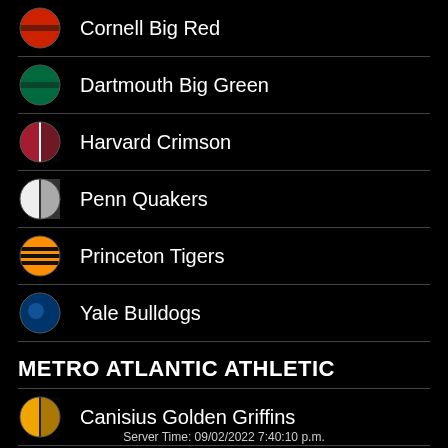Cornell Big Red
Dartmouth Big Green
Harvard Crimson
Penn Quakers
Princeton Tigers
Yale Bulldogs
METRO ATLANTIC ATHLETIC
Canisius Golden Griffins
Fairfield Stags
Server Time: 09/02/2022 7:40:10 p.m.